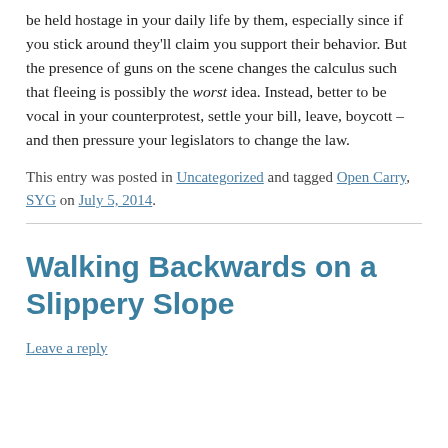be held hostage in your daily life by them, especially since if you stick around they'll claim you support their behavior. But the presence of guns on the scene changes the calculus such that fleeing is possibly the worst idea. Instead, better to be vocal in your counterprotest, settle your bill, leave, boycott – and then pressure your legislators to change the law.
This entry was posted in Uncategorized and tagged Open Carry, SYG on July 5, 2014.
Walking Backwards on a Slippery Slope
Leave a reply